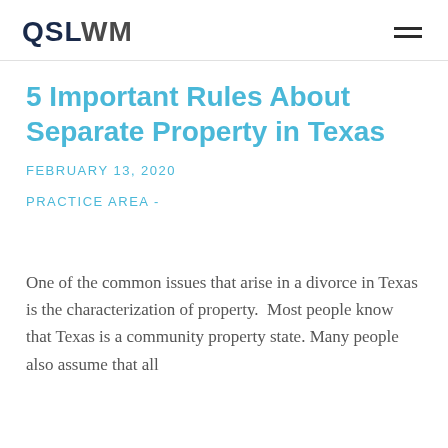QSLWM
5 Important Rules About Separate Property in Texas
FEBRUARY 13, 2020
PRACTICE AREA -
One of the common issues that arise in a divorce in Texas is the characterization of property.  Most people know that Texas is a community property state. Many people also assume that all